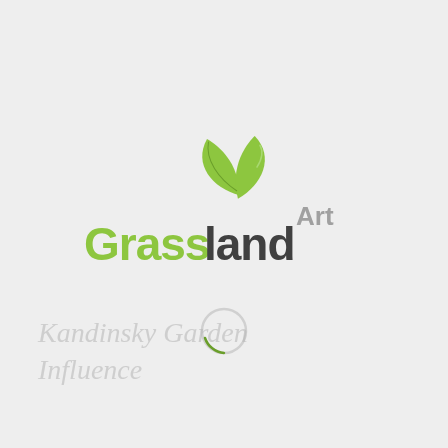[Figure (logo): Grassland Art logo: two green leaves above the brand name 'Grassland' in olive-green and dark charcoal, with 'Art' in gray to the right, and a loading spinner circle below]
Kandinsky Garden Influence